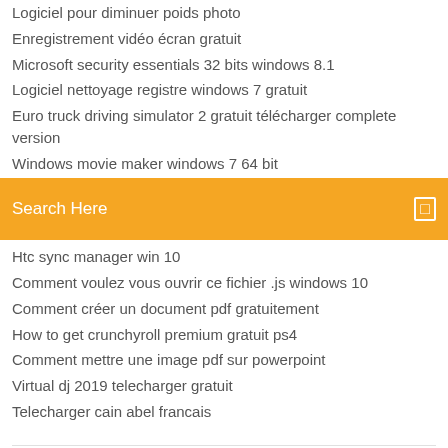Logiciel pour diminuer poids photo
Enregistrement vidéo écran gratuit
Microsoft security essentials 32 bits windows 8.1
Logiciel nettoyage registre windows 7 gratuit
Euro truck driving simulator 2 gratuit télécharger complete version
Windows movie maker windows 7 64 bit
[Figure (screenshot): Orange search bar with 'Search Here' placeholder text and a search icon on the right]
Htc sync manager win 10
Comment voulez vous ouvrir ce fichier .js windows 10
Comment créer un document pdf gratuitement
How to get crunchyroll premium gratuit ps4
Comment mettre une image pdf sur powerpoint
Virtual dj 2019 telecharger gratuit
Telecharger cain abel francais
A tribute to my all-time-favourite PC game: The Heroes of Might and Magic series. Especially HOM&M 2, HOM&M 3, and HOM&M...